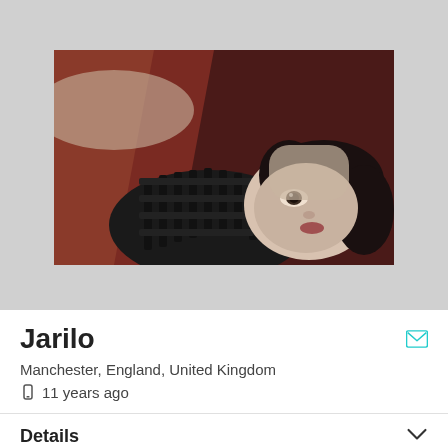[Figure (photo): Profile photo of a person lying down with dark strappy heels, dark hair, pale skin, on a dark red/brown background. Artistic, moody photography.]
Jarilo
Manchester, England, United Kingdom
11 years ago
Details